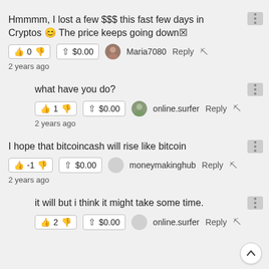Hmmmm, I lost a few $$$ this fast few days in Cryptos 😊 The price keeps going down 🔇
👍 0 👎  ↑ $0.00  Maria7080  Reply ⛓  2 years ago
what have you do?
👍 1 👎  ↑ $0.00  online.surfer  Reply ⛓  2 years ago
I hope that bitcoincash will rise like bitcoin
👍 -1 👎  ↑ $0.00  moneymakinghub  Reply ⛓  2 years ago
it will but i think it might take some time.
👍 2 👎  ↑ $0.00  online.surfer  Reply ⛓